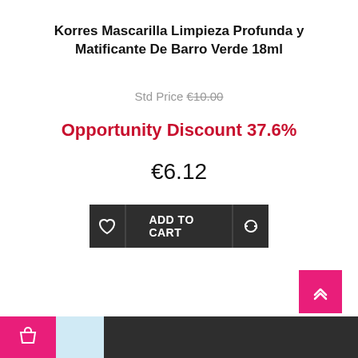Korres Mascarilla Limpieza Profunda y Matificante De Barro Verde 18ml
Std Price €10.00
Opportunity Discount 37.6%
€6.12
[Figure (screenshot): ADD TO CART button with wishlist heart icon on the left and refresh/sync icon on the right, all on dark background]
[Figure (screenshot): Dark footer bar with pink shopping bag icon on left and a back-to-top arrow button in pink on the right]